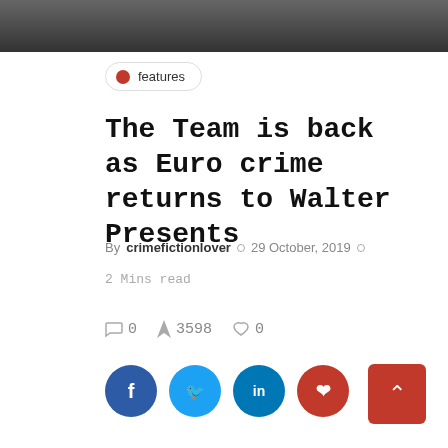[Figure (photo): Partial photo of a person at the top of the page, cropped]
features
The Team is back as Euro crime returns to Walter Presents
By crimefictionlover · 29 October, 2019 ·
2 Mins read
0  3598  0
[Figure (infographic): Social media share buttons: Facebook, Twitter, LinkedIn, Pinterest]